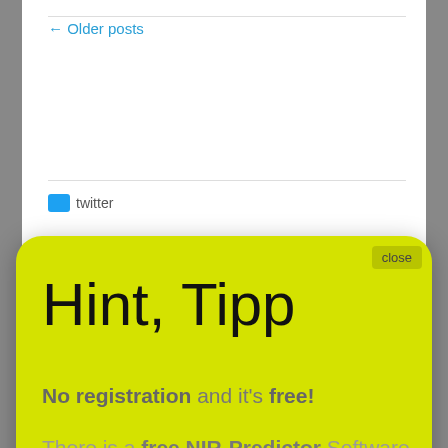← Older posts
twitter
Hint, Tipp
close
No registration and it's free!
There is a free NIR-Predictor Software.
> > > Show me < < <
accurate reliable NIR-spectroscopy calibrations (36)
Acoustic Chemometrics (1)
advice (23)
AI solutions for NIR-Spectroscopy (16)
AI solutions for NIR-Spectroscopy use (34)
AIaaS for Spectroscopy
AIaaS NIR (7)
We use cookies to ensure that we give you the best experience on our website. If you continue to use this site we will assume that you are happy with it.
Ok